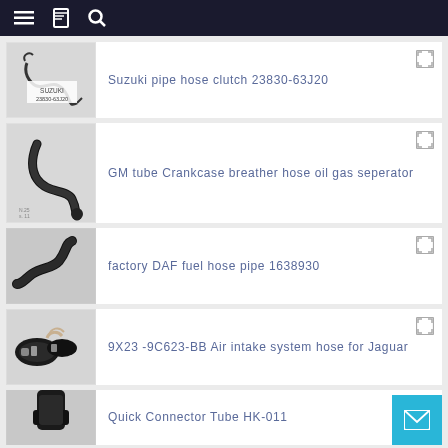Navigation bar with menu, bookmark, and search icons
Suzuki pipe hose clutch 23830-63J20
GM tube Crankcase breather hose oil gas seperator
factory DAF fuel hose pipe 1638930
9X23 -9C623-BB Air intake system hose for Jaguar
Quick Connector Tube HK-011